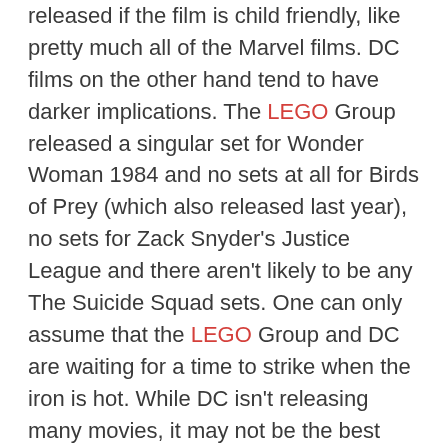released if the film is child friendly, like pretty much all of the Marvel films. DC films on the other hand tend to have darker implications. The LEGO Group released a singular set for Wonder Woman 1984 and no sets at all for Birds of Prey (which also released last year), no sets for Zack Snyder's Justice League and there aren't likely to be any The Suicide Squad sets. One can only assume that the LEGO Group and DC are waiting for a time to strike when the iron is hot. While DC isn't releasing many movies, it may not be the best time to release sets.
Reason 3: Coronavirus mucking up the schedule
There were rumours flying around late last year and early this year that there would be at least